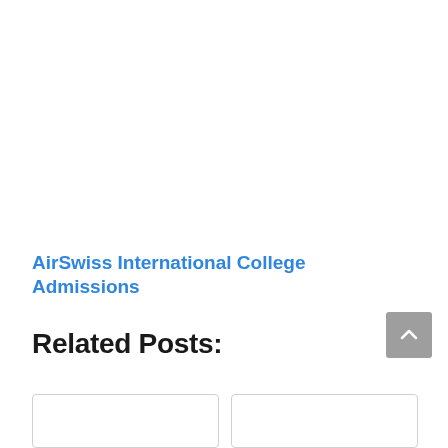AirSwiss International College Admissions
Related Posts: